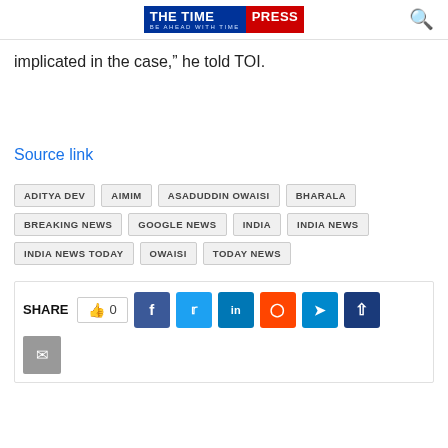THE TIME PRESS BE AHEAD WITH TIME
implicated in the case,” he told TOI.
Source link
ADITYA DEV
AIMIM
ASADUDDIN OWAISI
BHARALA
BREAKING NEWS
GOOGLE NEWS
INDIA
INDIA NEWS
INDIA NEWS TODAY
OWAISI
TODAY NEWS
SHARE  0